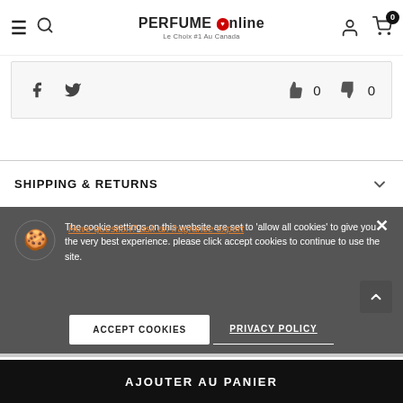PERFUME Online — Le Choix #1 Au Canada
[Figure (screenshot): Social share icons (Facebook, Twitter) and like/dislike thumbs with counts 0 and 0]
SHIPPING & RETURNS
The cookie settings on this website are set to 'allow all cookies' to give you the very best experience. please click accept cookies to continue to use the site.
Have question? ask an fragrance expert
ACCEPT COOKIES
PRIVACY POLICY
RELATED PRODUCTS
AJOUTER AU PANIER